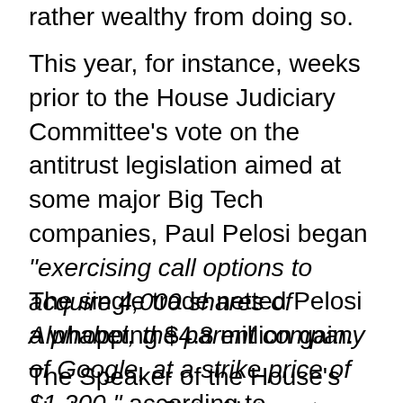rather wealthy from doing so.
This year, for instance, weeks prior to the House Judiciary Committee’s vote on the antitrust legislation aimed at some major Big Tech companies, Paul Pelosi began “exercising call options to acquire 4,000 shares of Alphabet, the parent company of Google, at a strike price of $1,200,” according to Bloomberg.
The single trade netted Pelosi a whopping $4.8 million gain.
The Speaker of the House’s obvious conflict of interest here was not lost on the media, as even